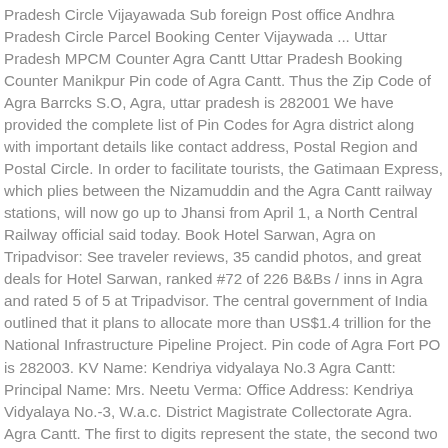Pradesh Circle Vijayawada Sub foreign Post office Andhra Pradesh Circle Parcel Booking Center Vijaywada ... Uttar Pradesh MPCM Counter Agra Cantt Uttar Pradesh Booking Counter Manikpur Pin code of Agra Cantt. Thus the Zip Code of Agra Barrcks S.O, Agra, uttar pradesh is 282001 We have provided the complete list of Pin Codes for Agra district along with important details like contact address, Postal Region and Postal Circle. In order to facilitate tourists, the Gatimaan Express, which plies between the Nizamuddin and the Agra Cantt railway stations, will now go up to Jhansi from April 1, a North Central Railway official said today. Book Hotel Sarwan, Agra on Tripadvisor: See traveler reviews, 35 candid photos, and great deals for Hotel Sarwan, ranked #72 of 226 B&Bs / inns in Agra and rated 5 of 5 at Tripadvisor. The central government of India outlined that it plans to allocate more than US$1.4 trillion for the National Infrastructure Pipeline Project. Pin code of Agra Fort PO is 282003. KV Name: Kendriya vidyalaya No.3 Agra Cantt: Principal Name: Mrs. Neetu Verma: Office Address: Kendriya Vidyalaya No.-3, W.a.c. District Magistrate Collectorate Agra. Agra Cantt. The first to digits represent the state, the second two digits represent the district and the Third two digits represents the Post Office.In this case the first two digits 28 represents the state Uttar